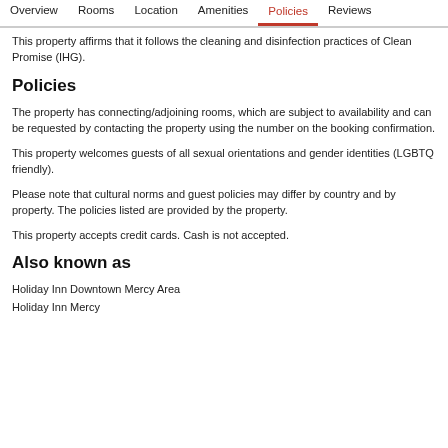Overview   Rooms   Location   Amenities   Policies   Reviews
This property affirms that it follows the cleaning and disinfection practices of Clean Promise (IHG).
Policies
The property has connecting/adjoining rooms, which are subject to availability and can be requested by contacting the property using the number on the booking confirmation.
This property welcomes guests of all sexual orientations and gender identities (LGBTQ friendly).
Please note that cultural norms and guest policies may differ by country and by property. The policies listed are provided by the property.
This property accepts credit cards. Cash is not accepted.
Also known as
Holiday Inn Downtown Mercy Area
Holiday Inn Mercy